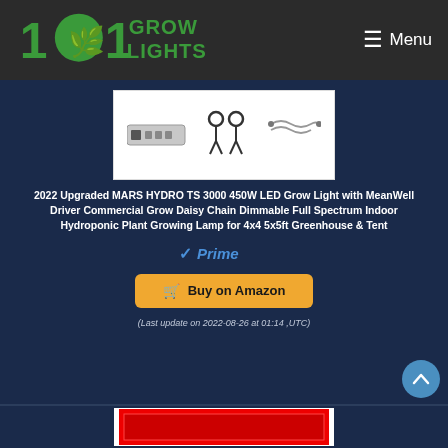101 Grow Lights — Menu
[Figure (photo): Product accessories image showing a power adapter/driver unit, mounting hardware hooks, and hanging wire cable on a white background]
2022 Upgraded MARS HYDRO TS 3000 450W LED Grow Light with MeanWell Driver Commercial Grow Daisy Chain Dimmable Full Spectrum Indoor Hydroponic Plant Growing Lamp for 4x4 5x5ft Greenhouse & Tent
[Figure (logo): Amazon Prime badge with blue checkmark and italic Prime text]
Buy on Amazon
(Last update on 2022-08-26 at 01:14 ,UTC)
[Figure (photo): Partial view of another product image at the bottom of the page, partially cut off]